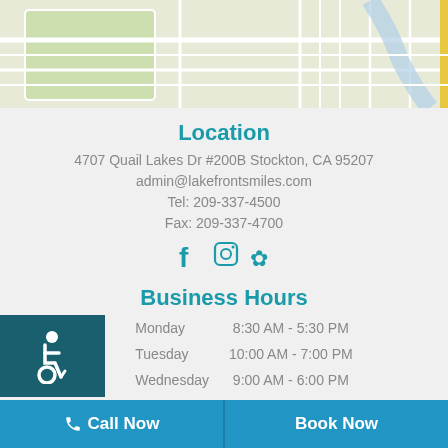[Figure (map): Street map showing location near Quail Lakes Dr area in Stockton, CA]
Location
4707 Quail Lakes Dr #200B Stockton, CA 95207
admin@lakefrontsmiles.com
Tel: 209-337-4500
Fax: 209-337-4700
[Figure (illustration): Social media icons: Facebook, Instagram, Yelp]
Business Hours
[Figure (illustration): Wheelchair accessibility icon on dark teal background]
| Day | Hours |
| --- | --- |
| Monday | 8:30 AM - 5:30 PM |
| Tuesday | 10:00 AM - 7:00 PM |
| Wednesday | 9:00 AM - 6:00 PM |
Call Now | Book Now